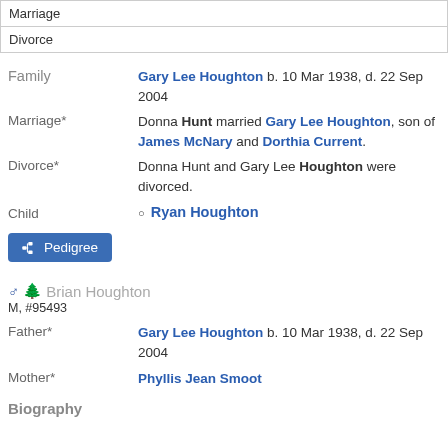| Marriage |
| Divorce |
Family   Gary Lee Houghton b. 10 Mar 1938, d. 22 Sep 2004
Marriage*   Donna Hunt married Gary Lee Houghton, son of James McNary and Dorthia Current.
Divorce*   Donna Hunt and Gary Lee Houghton were divorced.
Child   Ryan Houghton
Pedigree
♂ 🌳 Brian Houghton
M, #95493
Father*   Gary Lee Houghton b. 10 Mar 1938, d. 22 Sep 2004
Mother*   Phyllis Jean Smoot
Biography